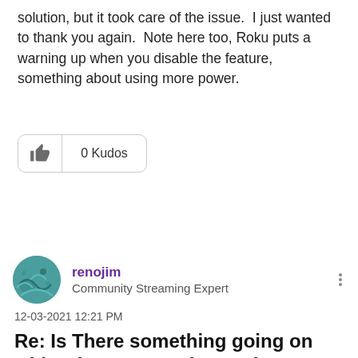solution, but it took care of the issue. I just wanted to thank you again. Note here too, Roku puts a warning up when you disable the feature, something about using more power.
[Figure (other): Kudos button showing thumbs up icon and 0 Kudos text]
[Figure (other): Purple Reply button]
[Figure (other): User avatar for renojim - teal circular avatar with wave design]
renojim
Community Streaming Expert
12-03-2021 12:21 PM
Re: Is There something going on with rokus connecting to the internet